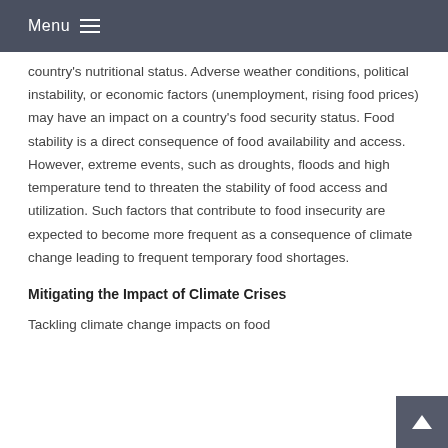Menu
country's nutritional status. Adverse weather conditions, political instability, or economic factors (unemployment, rising food prices) may have an impact on a country's food security status. Food stability is a direct consequence of food availability and access. However, extreme events, such as droughts, floods and high temperature tend to threaten the stability of food access and utilization. Such factors that contribute to food insecurity are expected to become more frequent as a consequence of climate change leading to frequent temporary food shortages.
Mitigating the Impact of Climate Crises
Tackling climate change impacts on food